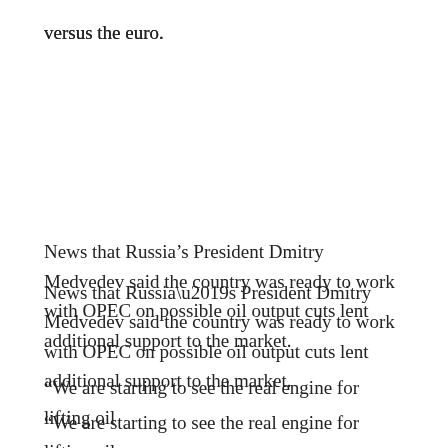versus the euro.
News that Russia’s President Dmitry Medvedev said the country was ready to work with OPEC on possible oil output cuts lent additional support to the market.
“We are starting to see the real engine for lifting oil